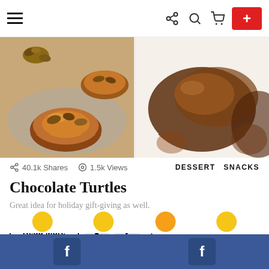[Figure (screenshot): Website navigation bar with hamburger menu, share, search, cart icons, and red plus button]
[Figure (photo): Two photos of chocolate turtle candies with pecans on a decorative surface and white background]
40.1k Shares   1.5k Views
DESSERT   SNACKS
Chocolate Turtles
Great idea for holiday gift-giving as well.
Read More   ▲   ▼   -1
What's Your Reaction? —
[Figure (screenshot): Facebook footer bar with two Facebook icon buttons on blue background]